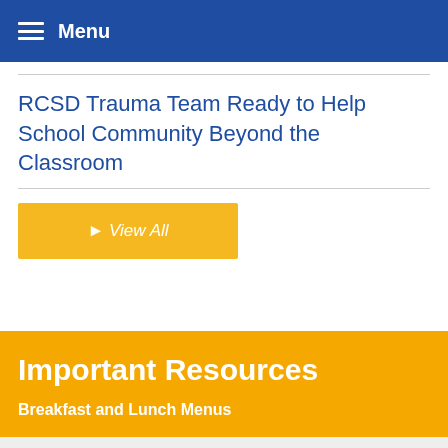Menu
RCSD Trauma Team Ready to Help School Community Beyond the Classroom
[Figure (other): Yellow 'View All' button with arrow icon]
Important Resources
Breakfast and Lunch Menus
View Full Site